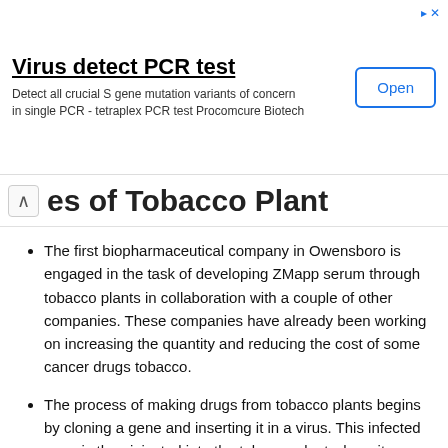[Figure (other): Advertisement banner for Virus detect PCR test by Procomcure Biotech with Open button]
es of Tobacco Plant
The first biopharmaceutical company in Owensboro is engaged in the task of developing ZMapp serum through tobacco plants in collaboration with a couple of other companies. These companies have already been working on increasing the quantity and reducing the cost of some cancer drugs tobacco.
The process of making drugs from tobacco plants begins by cloning a gene and inserting it in a virus. This infected gene is then injected into the tobacco plant where it multiplies within the leaves. It is then extracted and purified. It is believed that a tobacco plant can produce antibodies that can make a large number of doses. It is